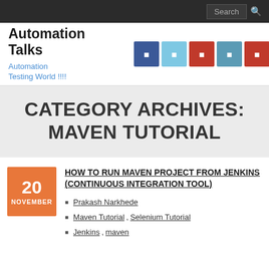Search
Automation Talks
Automation Testing World !!!!
CATEGORY ARCHIVES: MAVEN TUTORIAL
20 NOVEMBER
HOW TO RUN MAVEN PROJECT FROM JENKINS (CONTINUOUS INTEGRATION TOOL)
Prakash Narkhede
Maven Tutorial, Selenium Tutorial
Jenkins, maven